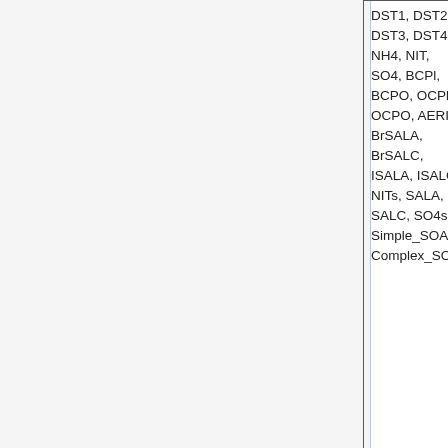| Species | sfc | 500hPa | full column |
| --- | --- | --- | --- |
| DST1, DST2, DST3, DST4, NH4, NIT, SO4, BCPl, BCPO, OCPl, OCPO, AERI, BrSALA, BrSALC, ISALA, ISALC, NITs, SALA, SALC, SO4s, Simple_SOA, Complex_SOA |  |  | column |
| Bromine
Bry, BrOx, Br, Br2, BrCl, BrNO2, BrNO3, BrO, CH2Br... | sfc | 500hPa | full column |